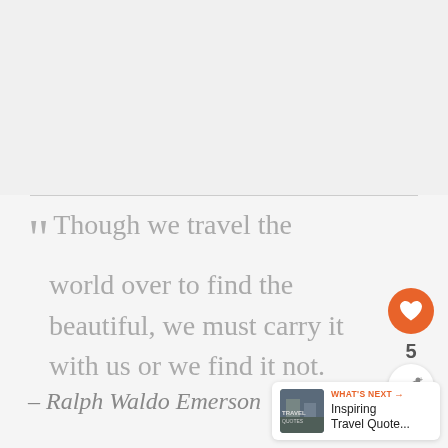Though we travel the world over to find the beautiful, we must carry it with us or we find it not.
– Ralph Waldo Emerson